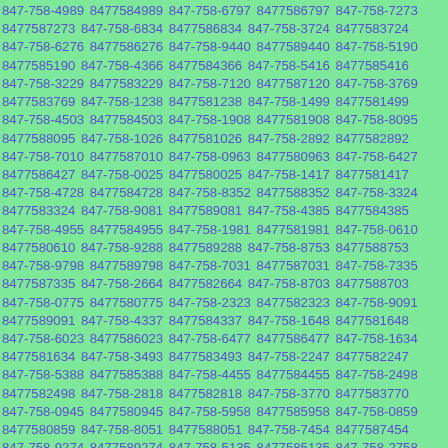847-758-4989 8477584989 847-758-6797 8477586797 847-758-7273 8477587273 847-758-6834 8477586834 847-758-3724 8477583724 847-758-6276 8477586276 847-758-9440 8477589440 847-758-5190 8477585190 847-758-4366 8477584366 847-758-5416 8477585416 847-758-3229 8477583229 847-758-7120 8477587120 847-758-3769 8477583769 847-758-1238 8477581238 847-758-1499 8477581499 847-758-4503 8477584503 847-758-1908 8477581908 847-758-8095 8477588095 847-758-1026 8477581026 847-758-2892 8477582892 847-758-7010 8477587010 847-758-0963 8477580963 847-758-6427 8477586427 847-758-0025 8477580025 847-758-1417 8477581417 847-758-4728 8477584728 847-758-8352 8477588352 847-758-3324 8477583324 847-758-9081 8477589081 847-758-4385 8477584385 847-758-4955 8477584955 847-758-1981 8477581981 847-758-0610 8477580610 847-758-9288 8477589288 847-758-8753 8477588753 847-758-9798 8477589798 847-758-7031 8477587031 847-758-7335 8477587335 847-758-2664 8477582664 847-758-8703 8477588703 847-758-0775 8477580775 847-758-2323 8477582323 847-758-9091 8477589091 847-758-4337 8477584337 847-758-1648 8477581648 847-758-6023 8477586023 847-758-6477 8477586477 847-758-1634 8477581634 847-758-3493 8477583493 847-758-2247 8477582247 847-758-5388 8477585388 847-758-4455 8477584455 847-758-2498 8477582498 847-758-2818 8477582818 847-758-3770 8477583770 847-758-0945 8477580945 847-758-5958 8477585958 847-758-0859 8477580859 847-758-8051 8477588051 847-758-7454 8477587454 847-758-9274 8477589274 847-758-5135 8477585135 847-758-2758